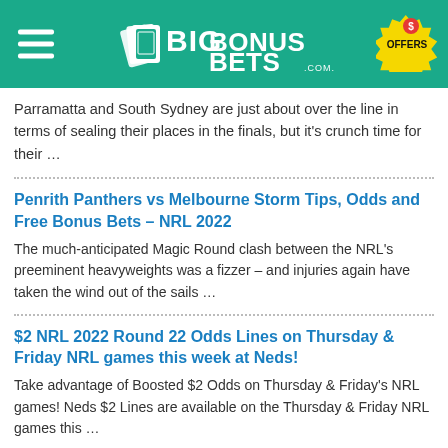BIG BONUS BETS .COM.AU
Parramatta and South Sydney are just about over the line in terms of sealing their places in the finals, but it's crunch time for their …
Penrith Panthers vs Melbourne Storm Tips, Odds and Free Bonus Bets – NRL 2022
The much-anticipated Magic Round clash between the NRL's preeminent heavyweights was a fizzer – and injuries again have taken the wind out of the sails …
$2 NRL 2022 Round 22 Odds Lines on Thursday & Friday NRL games this week at Neds!
Take advantage of Boosted $2 Odds on Thursday & Friday's NRL games! Neds $2 Lines are available on the Thursday & Friday NRL games this …
$2 AFL 2022 Round 22 Odds Lines on Friday & Sunday AFL games this week at Neds!